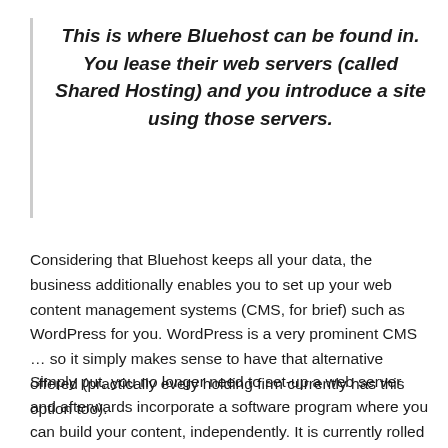This is where Bluehost can be found in. You lease their web servers (called Shared Hosting) and you introduce a site using those servers.
Considering that Bluehost keeps all your data, the business additionally enables you to set up your web content management systems (CMS, for brief) such as WordPress for you. WordPress is a very prominent CMS … so it simply makes sense to have that alternative offered (practically every holding firm currently has this option too).
Simply put, you no longer need to set-up a web server and afterwards incorporate a software program where you can build your content, independently. It is currently rolled into one plan.